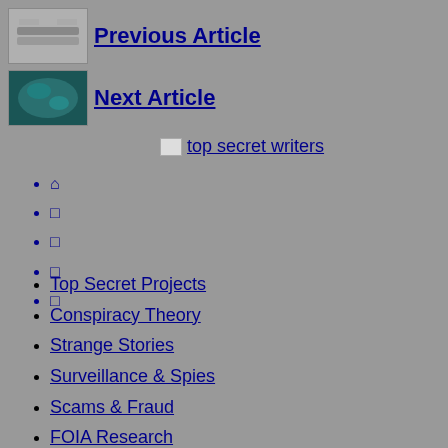[Figure (photo): Thumbnail image of a building or structure (aerial/industrial view, grey tones)]
Previous Article
[Figure (photo): Thumbnail image with teal/blue-green underwater or nature scene]
Next Article
[Figure (logo): top secret writers logo/image placeholder]
⌂
□
□
□
□
Top Secret Projects
Conspiracy Theory
Strange Stories
Surveillance & Spies
Scams & Fraud
FOIA Research
Subscribe
Contact
About Us